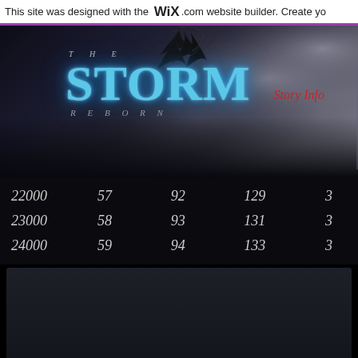This site was designed with the WIX.com website builder. Create yo
[Figure (illustration): The Storm Reborn fantasy website header with dark stormy sky background, glowing blue STORM title text, feather decoration, and red Story Info navigation link]
| 22000 | 57 | 92 | 129 | 3 |
| 23000 | 58 | 93 | 131 | 3 |
| 24000 | 59 | 94 | 133 | 3 |
[Figure (other): Dark gradient decorative bottom panel]